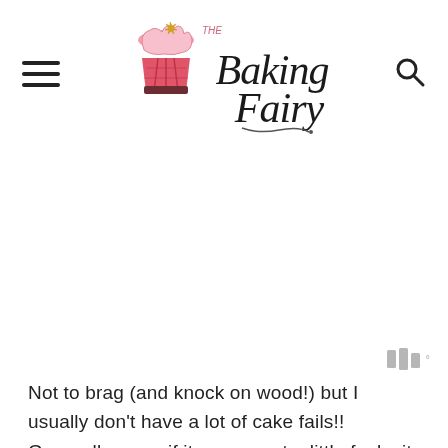The Baking Fairy
[Figure (other): Advertisement/blank area below header with ad indicator icon]
Not to brag (and knock on wood!) but I usually don't have a lot of cake fails!! Generally, even if it comes out a little funky it can either be saved by some creative food styling, or it's still good enough for my family to